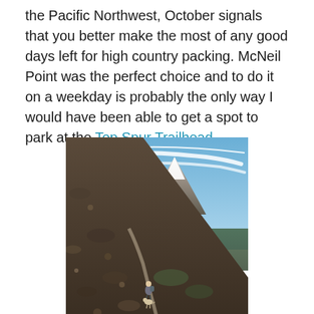the Pacific Northwest, October signals that you better make the most of any good days left for high country packing. McNeil Point was the perfect choice and to do it on a weekday is probably the only way I would have been able to get a spot to park at the Top Spur Trailhead.
[Figure (photo): A hiker with a dog on a rocky alpine trail on a steep hillside, with a snow-capped mountain peak visible in the background under a blue sky with wispy clouds.]